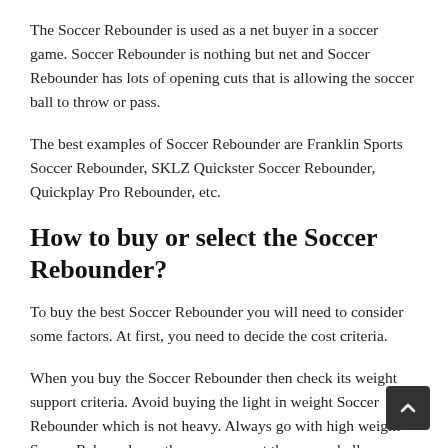The Soccer Rebounder is used as a net buyer in a soccer game. Soccer Rebounder is nothing but net and Soccer Rebounder has lots of opening cuts that is allowing the soccer ball to throw or pass.
The best examples of Soccer Rebounder are Franklin Sports Soccer Rebounder, SKLZ Quickster Soccer Rebounder, Quickplay Pro Rebounder, etc.
How to buy or select the Soccer Rebounder?
To buy the best Soccer Rebounder you will need to consider some factors. At first, you need to decide the cost criteria.
When you buy the Soccer Rebounder then check its weight support criteria. Avoid buying the light in weight Soccer Rebounder which is not heavy. Always go with high weight Soccer Rebounder as they can support the soccer ball.